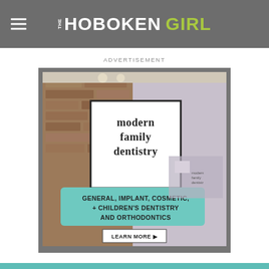THE HOBOKEN GIRL
ADVERTISEMENT
[Figure (photo): Advertisement for Modern Family Dentistry showing a dental office interior with brick walls and text: 'modern family dentistry - GENERAL, IMPLANT, COSMETIC, + CHILDREN'S DENTISTRY AND ORTHODONTICS - LEARN MORE']
ADVERTISEMENT